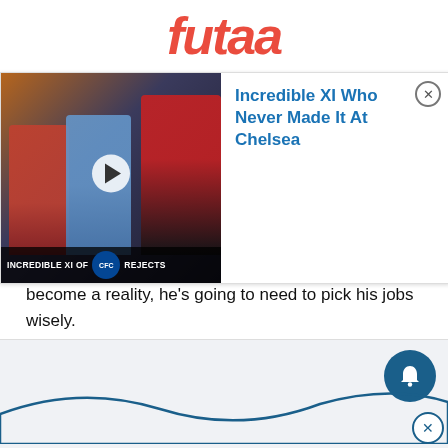futaa
[Figure (screenshot): Video thumbnail showing three football players (left in red AS Roma kit, center in light blue Manchester City kit, right in black and red AC Milan kit) with overlay text 'INCREDIBLE XI OF [Chelsea badge] REJECTS'. Play button visible in center.]
Incredible XI Who Never Made It At Chelsea
become a reality, he's going to need to pick his jobs wisely.
jumping into clubs where things aren't likely to go too well isn't going to do him many favours in his bid to one day become Rangers boss.